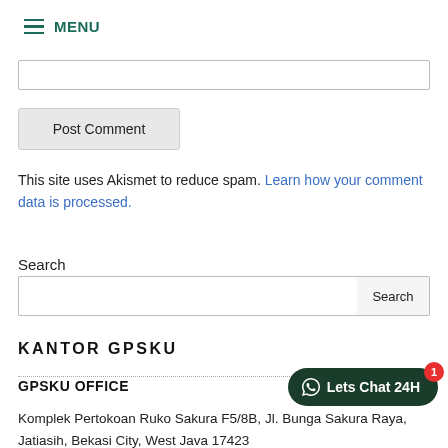MENU
This site uses Akismet to reduce spam. Learn how your comment data is processed.
Search
KANTOR GPSKU
GPSKU OFFICE
Komplek Pertokoan Ruko Sakura F5/8B, Jl. Bunga Sakura Raya, Jatiasih, Bekasi City, West Java 17423